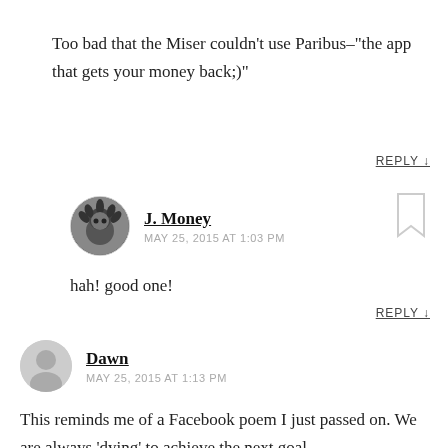Too bad that the Miser couldn't use Paribus–"the app that gets your money back;)"
REPLY ↓
J. Money
MAY 25, 2015 AT 1:03 PM
hah! good one!
REPLY ↓
Dawn
MAY 25, 2015 AT 1:13 PM
This reminds me of a Facebook poem I just passed on. We are always 'dying' to achieve the next goal…